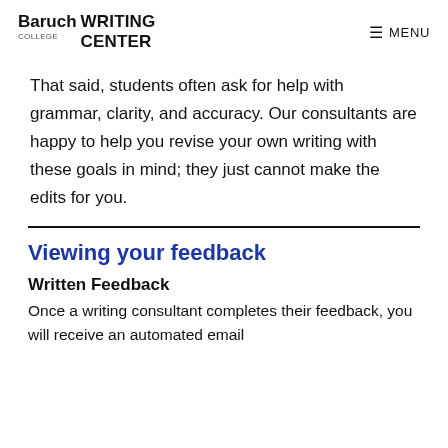Baruch College Writing Center  ☰ MENU
That said, students often ask for help with grammar, clarity, and accuracy. Our consultants are happy to help you revise your own writing with these goals in mind; they just cannot make the edits for you.
Viewing your feedback
Written Feedback
Once a writing consultant completes their feedback, you will receive an automated email